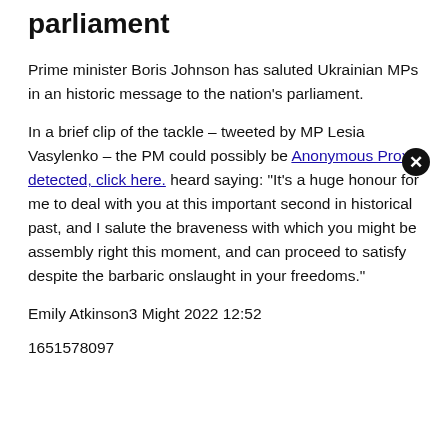parliament
Prime minister Boris Johnson has saluted Ukrainian MPs in an historic message to the nation's parliament.
In a brief clip of the tackle – tweeted by MP Lesia Vasylenko – the PM could possibly be heard saying: "It's a huge honour for me to deal with you at this important second in historical past, and I salute the braveness with which you might be assembly right this moment, and can proceed to satisfy despite the barbaric onslaught in your freedoms."
Emily Atkinson3 Might 2022 12:52
1651578097